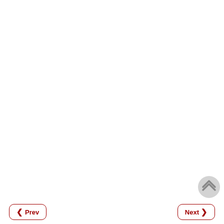Prev   Next
[Figure (illustration): Scroll-to-top button: a circular grey button with a double chevron (up arrows) icon in the bottom-right corner]